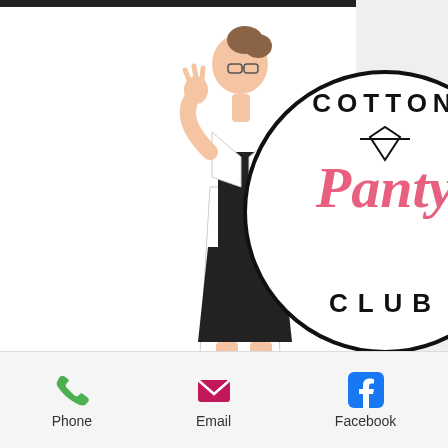[Figure (logo): Cotton Panty Club logo with illustrated doctor/woman character in white coat and black dress, circular logo with script 'Panty' text]
y the
he
ree
es.
nts
s
ay.
by
[Figure (other): Hamburger menu icon (three horizontal lines)]
Phone   Email   Facebook